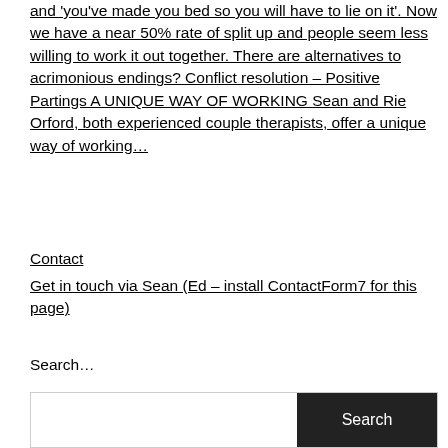and 'you've made you bed so you will have to lie on it'. Now we have a near 50% rate of split up and people seem less willing to work it out together. There are alternatives to acrimonious endings? Conflict resolution – Positive Partings A UNIQUE WAY OF WORKING Sean and Rie Orford, both experienced couple therapists, offer a unique way of working…
Contact
Get in touch via Sean (Ed – install ContactForm7 for this page)
Search…